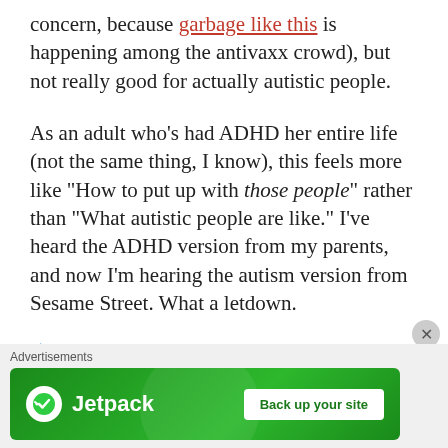concern, because garbage like this is happening among the antivaxx crowd), but not really good for actually autistic people.
As an adult who's had ADHD her entire life (not the same thing, I know), this feels more like "How to put up with those people" rather than "What autistic people are like." I've heard the ADHD version from my parents, and now I'm hearing the autism version from Sesame Street. What a letdown.
[Figure (other): Jetpack advertisement banner with logo and 'Back up your site' button]